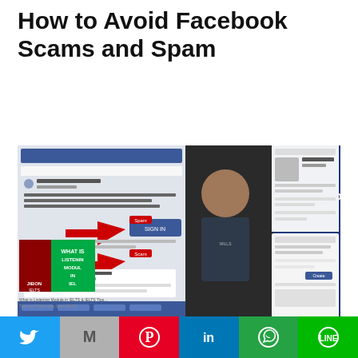How to Avoid Facebook Scams and Spam
[Figure (screenshot): Screenshot of a YouTube video thumbnail about 'IELTS Groups on Facebook – how to stay safe', showing a man in a dark t-shirt with Facebook interface screenshots in the background, and a sub-video thumbnail showing 'What is Listening Module in IELTS' with a presenter named Jibon.]
This video tells you all about the negative aspects of studying for IELTS on Facebook. It will help you to avoid the bad stuff and get the most benefit from
Twitter | Gmail | Pinterest | LinkedIn | WhatsApp | Line